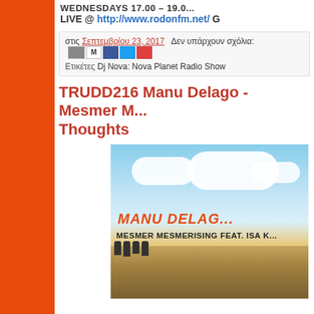WEDNESDAYS 17.00 – 19.0... LIVE @ http://www.rodonfm.net/ G
στις Σεπτεμβρίου 23, 2017   Δεν υπάρχουν σχόλια:
Ετικέτες Dj Nova: Nova Planet Radio Show
TRUDD216 Manu Delago - Mesmer M... Thoughts
[Figure (photo): Album cover for Manu Delago - Mesmer Mesmerising feat. Isa K, showing a beach scene with blue sky, clouds, sandy beach and people in the distance. Text reads MANU DELAGO and MESMER MESMERISING FEAT. ISA K]